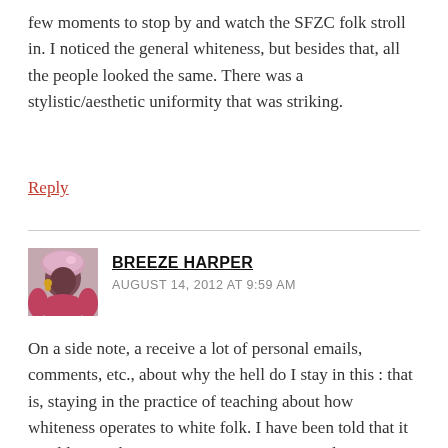few moments to stop by and watch the SFZC folk stroll in. I noticed the general whiteness, but besides that, all the people looked the same. There was a stylistic/aesthetic uniformity that was striking.
Reply
BREEZE HARPER
AUGUST 14, 2012 AT 9:59 AM
[Figure (photo): Profile photo of Breeze Harper, a person wearing a pink/purple head wrap and pink clothing with earrings.]
On a side note, a receive a lot of personal emails, comments, etc., about why the hell do I stay in this : that is, staying in the practice of teaching about how whiteness operates to white folk. I have been told that it would seem that it's just a constant never-ending process of being frustrated and emotionally depressed by dealing...